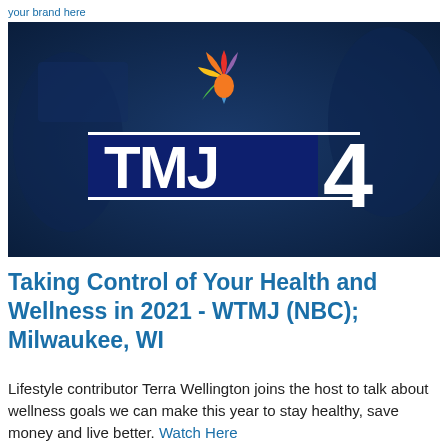your brand here
[Figure (logo): TMJ4 NBC Milwaukee station logo on a dark blue background with silhouettes of people in the background. The NBC peacock logo appears above the TMJ4 text logo. White text 'TMJ4' with the number '4' in large format, with two white horizontal lines flanking the text.]
Taking Control of Your Health and Wellness in 2021 - WTMJ (NBC); Milwaukee, WI
Lifestyle contributor Terra Wellington joins the host to talk about wellness goals we can make this year to stay healthy, save money and live better. Watch Here